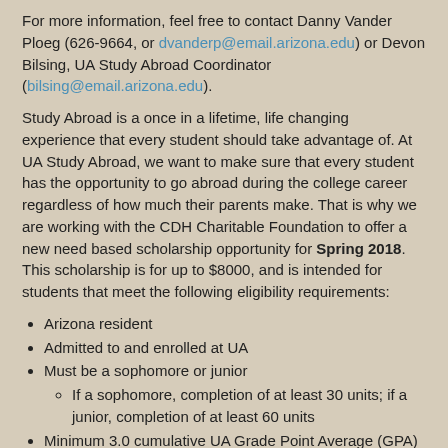For more information, feel free to contact Danny Vander Ploeg (626-9664, or dvanderp@email.arizona.edu) or Devon Bilsing, UA Study Abroad Coordinator (bilsing@email.arizona.edu).
Study Abroad is a once in a lifetime, life changing experience that every student should take advantage of. At UA Study Abroad, we want to make sure that every student has the opportunity to go abroad during the college career regardless of how much their parents make. That is why we are working with the CDH Charitable Foundation to offer a new need based scholarship opportunity for Spring 2018. This scholarship is for up to $8000, and is intended for students that meet the following eligibility requirements:
Arizona resident
Admitted to and enrolled at UA
Must be a sophomore or junior
If a sophomore, completion of at least 30 units; if a junior, completion of at least 60 units
Minimum 3.0 cumulative UA Grade Point Average (GPA)
Demonstrated financial need by completing the Free Application for Federal Student Aid (FAFSA)
Beyond these criteria, preference will be given to first generation college students.